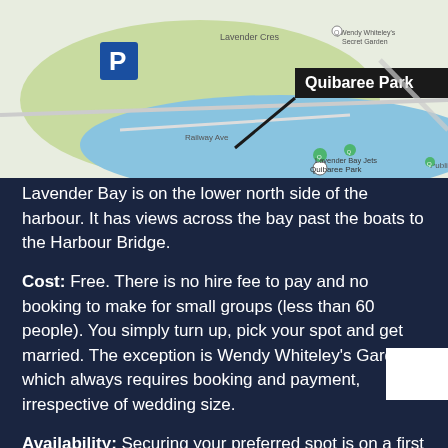[Figure (map): Google Maps screenshot showing Quibaree Park / Lavender Bay area. A parking icon (P) is shown on the left. A black label reads 'Quibaree Park' with an arrow pointing to the park location. The map shows a blue water body (Lavender Bay), surrounding green areas and streets including Railway Ave, Lavender Cres. A location pin labeled 'Lavender Bay Jets' appears over the water.]
Lavender Bay is on the lower north side of the harbour. It has views across the bay past the boats to the Harbour Bridge.
Cost: Free. There is no hire fee to pay and no booking to make for small groups (less than 60 people). You simply turn up, pick your spot and get married. The exception is Wendy Whiteley's Garden which always requires booking and payment, irrespective of wedding size.
Availability: Securing your preferred spot is on a first come first served basis. You can informally reserve your area by sending family or friends ahead to lay out a blanket or put out